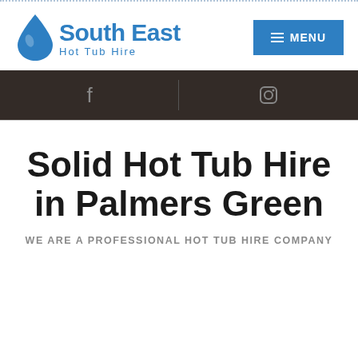[Figure (logo): South East Hot Tub Hire logo with blue water drop icon and blue text]
[Figure (infographic): Dark brown navigation bar with Facebook and Instagram social media icons side by side]
Solid Hot Tub Hire in Palmers Green
WE ARE A PROFESSIONAL HOT TUB HIRE COMPANY